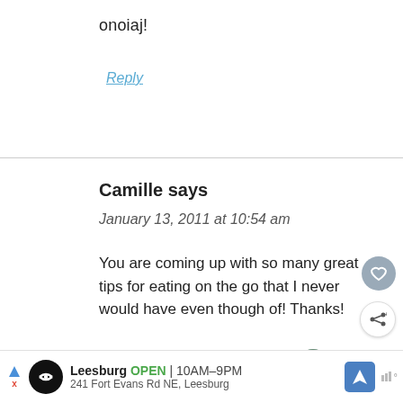onoiaj!
Reply
Camille says
January 13, 2011 at 10:54 am
You are coming up with so many great tips for eating on the go that I never would have even though of! Thanks!
Reply
[Figure (other): Ad banner: Leesburg store, OPEN 10AM-9PM, 241 Fort Evans Rd NE Leesburg]